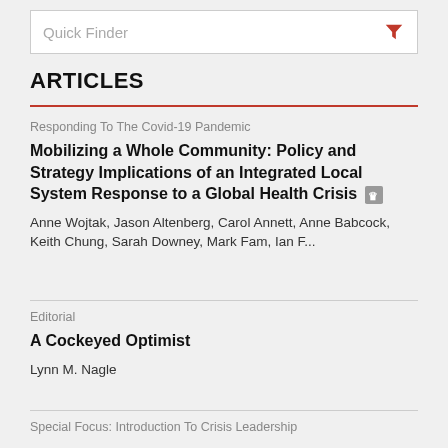Quick Finder
ARTICLES
Responding To The Covid-19 Pandemic
Mobilizing a Whole Community: Policy and Strategy Implications of an Integrated Local System Response to a Global Health Crisis
Anne Wojtak, Jason Altenberg, Carol Annett, Anne Babcock, Keith Chung, Sarah Downey, Mark Fam, Ian F...
Editorial
A Cockeyed Optimist
Lynn M. Nagle
Special Focus: Introduction To Crisis Leadership